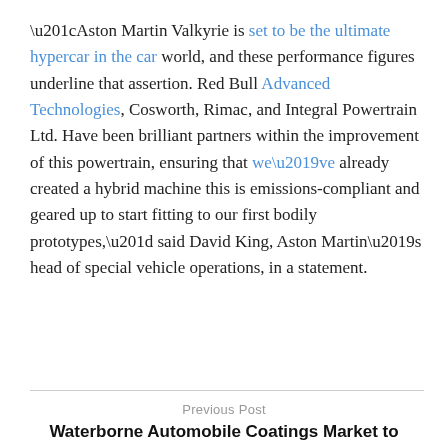“Aston Martin Valkyrie is set to be the ultimate hypercar in the car world, and these performance figures underline that assertion. Red Bull Advanced Technologies, Cosworth, Rimac, and Integral Powertrain Ltd. Have been brilliant partners within the improvement of this powertrain, ensuring that we’ve already created a hybrid machine this is emissions-compliant and geared up to start fitting to our first bodily prototypes,” said David King, Aston Martin’s head of special vehicle operations, in a statement.
Previous Post
Waterborne Automobile Coatings Market to Register a Stout Growth by End 2018